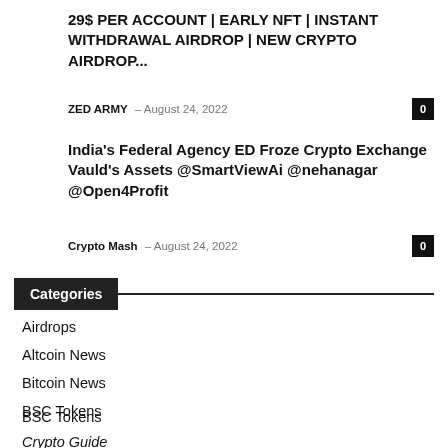29$ PER ACCOUNT | EARLY NFT | INSTANT WITHDRAWAL AIRDROP | NEW CRYPTO AIRDROP...
ZED ARMY – August 24, 2022  0
India's Federal Agency ED Froze Crypto Exchange Vauld's Assets @SmartViewAi @nehanagar @Open4Profit
Crypto Mash – August 24, 2022  0
Categories
Airdrops
Altcoin News
Bitcoin News
BSC Tokens
Crypto Guide
Crypto News